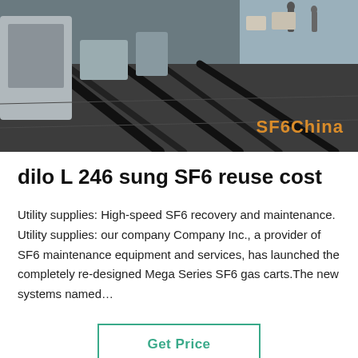[Figure (photo): Overhead view of industrial SF6 gas equipment with cables and hoses on ground, watermark 'SF6China' in orange bottom-right]
dilo L 246 sung SF6 reuse cost
Utility supplies: High-speed SF6 recovery and maintenance. Utility supplies: our company Company Inc., a provider of SF6 maintenance equipment and services, has launched the completely re-designed Mega Series SF6 gas carts.The new systems named…
Get Price
[Figure (photo): Bottom section showing industrial equipment photo with dark overlay bar containing 'Leave Message' and 'Chat Online' buttons, a customer service avatar in the center, and a green scroll-to-top button.]